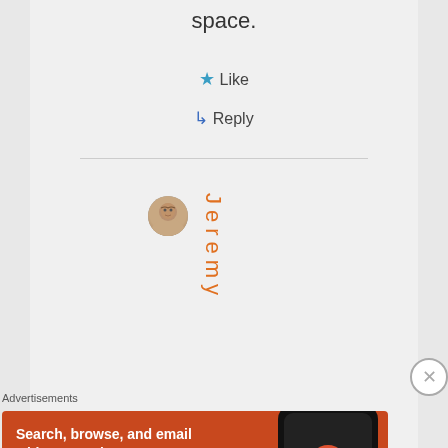space.
★ Like
↳ Reply
[Figure (photo): Small circular avatar photo of a man]
Jeremy
Advertisements
[Figure (screenshot): DuckDuckGo advertisement banner: Search, browse, and email with more privacy. All in One Free App. Shows phone with DuckDuckGo app.]